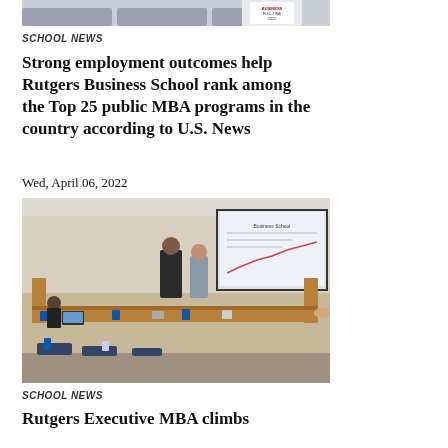[Figure (photo): Partial top photo showing classroom/award badge graphic, cropped at top of page]
SCHOOL NEWS
Strong employment outcomes help Rutgers Business School rank among the Top 25 public MBA programs in the country according to U.S. News
Wed, April 06, 2022
[Figure (photo): Photo of a classroom setting with two people standing at the front near a whiteboard/screen, and participants seated around conference-style tables]
SCHOOL NEWS
Rutgers Executive MBA climbs